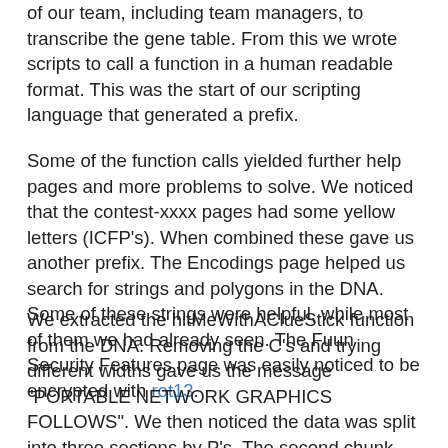of our team, including team managers, to transcribe the gene table. From this we wrote scripts to call a function in a human readable format. This was the start of our scripting language that generated a prefix.
Some of the function calls yielded further help pages and more problems to solve. We noticed that the contest-xxxx pages had some yellow letters (ICFP's). When combined these gave us another prefix. The Encodings page helped us search for strings and polygons in the DNA. Some of these strings were helpful, while most of them we had already seen. The Fuun Security Features page was easily noticed to be encrypted with rot13.
We extracted the hitMeWithAClueStick function from the DNA. Removing the C's and trying different widths gave us the message "PORTABLE NETWORK GRAPHICS FOLLOWS". We then noticed the data was split into three sections by P's. The second chunk gave us a PNG image, which told us that an audible voice followed and we then interpreted the remaining segment as an MP3, which read out yet another prefix. This gave us the Beautiful Numbers page, which didn't get us anything extra since we had